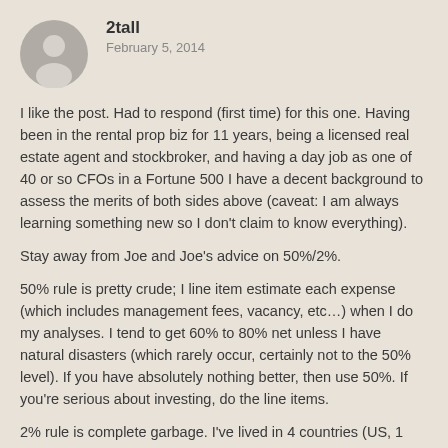[Figure (illustration): Circular grey avatar icon with a generic person silhouette]
2tall
February 5, 2014
I like the post. Had to respond (first time) for this one. Having been in the rental prop biz for 11 years, being a licensed real estate agent and stockbroker, and having a day job as one of 40 or so CFOs in a Fortune 500 I have a decent background to assess the merits of both sides above (caveat: I am always learning something new so I don't claim to know everything).
Stay away from Joe and Joe's advice on 50%/2%.
50% rule is pretty crude; I line item estimate each expense (which includes management fees, vacancy, etc…) when I do my analyses. I tend to get 60% to 80% net unless I have natural disasters (which rarely occur, certainly not to the 50% level). If you have absolutely nothing better, then use 50%. If you're serious about investing, do the line items.
2% rule is complete garbage. I've lived in 4 countries (US, 1 European and 2 Asian) and owned or rented in ~20 unique real estate markets around the world, and I've NEVER been in a market where this is possible. The only market I have familiarity with (but not first hand knowledge of renting / owning) where you could get 2%